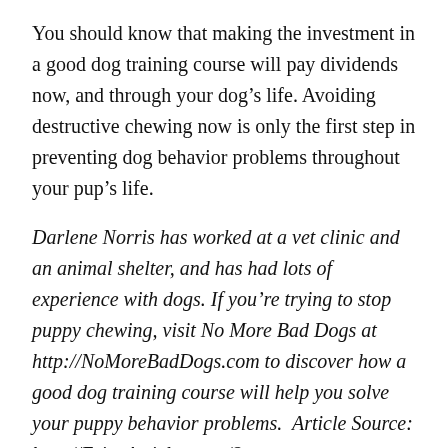You should know that making the investment in a good dog training course will pay dividends now, and through your dog's life. Avoiding destructive chewing now is only the first step in preventing dog behavior problems throughout your pup's life.
Darlene Norris has worked at a vet clinic and an animal shelter, and has had lots of experience with dogs. If you're trying to stop puppy chewing, visit No More Bad Dogs at http://NoMoreBadDogs.com to discover how a good dog training course will help you solve your puppy behavior problems. Article Source: http://EzineArticles.com/?expert=Darlene_L._Norris